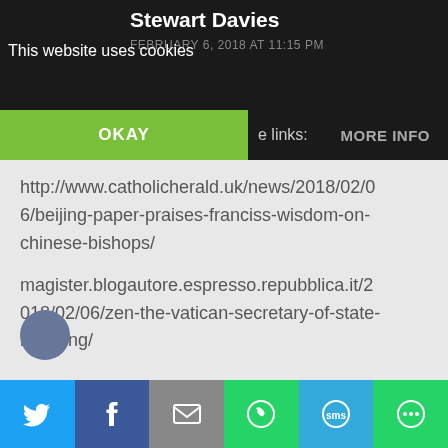Stewart Davies FEBRUARY 6, 2018 AT 11:15 PM
This website uses cookies
OKAY    e links:    MORE INFO
http://www.catholicherald.uk/news/2018/02/06/beijing-paper-praises-franciss-wisdom-on-chinese-bishops/
magister.blogautore.espresso.repubblica.it/2018/02/06/zen-the-vatican-secretary-of-state-is-wrong/
Reply
Twitter Facebook Email WhatsApp SMS More